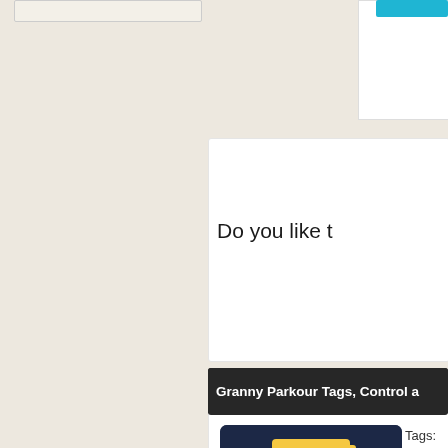Do you like t
Granny Parkour Tags, Control a
[Figure (illustration): 3D blocky cartoon character with blonde hair, peach skin, open mouth smile, wearing a blue shirt, rendered against a dark navy background. Game character image for Granny Parkour.]
Tags:
simpl
W —
— Mo
Granny Parkour Related Games